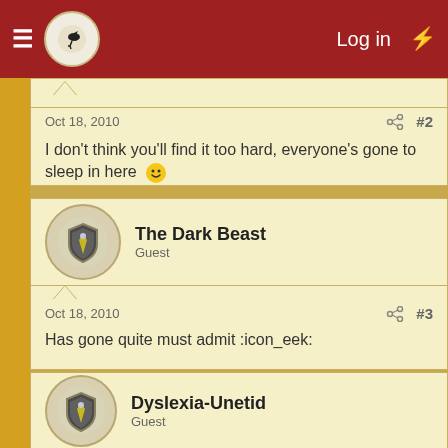Log in
I don't think you'll find it too hard, everyone's gone to sleep in here 🙂
The Dark Beast
Guest
Oct 18, 2010
#3
Has gone quite must admit :icon_eek:
Dyslexia-Unetid
Guest
Oct 19, 2010
#4
Did you know you can also visit us
I would only so you do not have to bother, but I am not in the